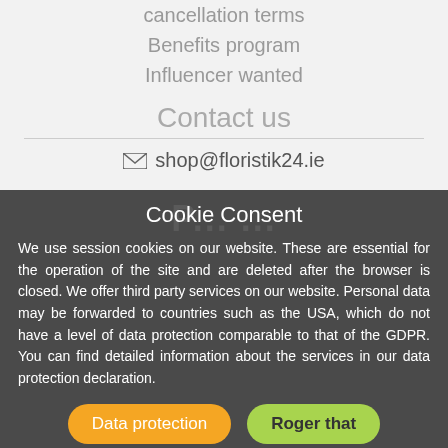cancellation terms
Benefits program
Influencer wanted
Contact us
✉ shop@floristik24.ie
Cookie Consent
We use session cookies on our website. These are essential for the operation of the site and are deleted after the browser is closed. We offer third party services on our website. Personal data may be forwarded to countries such as the USA, which do not have a level of data protection comparable to that of the GDPR. You can find detailed information about the services in our data protection declaration.
Data protection | Roger that